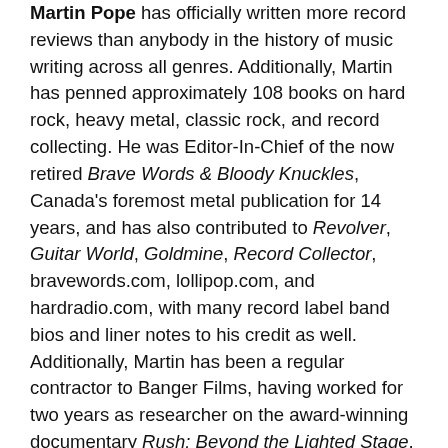Martin Pope has officially written more record reviews than anybody in the history of music writing across all genres. Additionally, Martin has penned approximately 108 books on hard rock, heavy metal, classic rock, and record collecting. He was Editor-In-Chief of the now retired Brave Words & Bloody Knuckles, Canada's foremost metal publication for 14 years, and has also contributed to Revolver, Guitar World, Goldmine, Record Collector, bravewords.com, lollipop.com, and hardradio.com, with many record label band bios and liner notes to his credit as well. Additionally, Martin has been a regular contractor to Banger Films, having worked for two years as researcher on the award-winning documentary Rush: Beyond the Lighted Stage, on the writing and research team for the 11-episode Metal Evolution and on the ten-episode Rock Icons, both for VH1 Classic. Additionally, Martin is the writer of the original metal genre chart used in Metal: A Headbanger's Journey and throughout the Metal Evolution episodes.